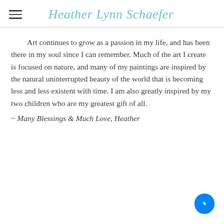Heather Lynn Schaefer
Art continues to grow as a passion in my life, and has been there in my soul since I can remember. Much of the art I create is focused on nature, and many of my paintings are inspired by the natural uninterrupted beauty of the world that is becoming less and less existent with time. I am also greatly inspired by my two children who are my greatest gift of all.
~ Many Blessings & Much Love, Heather
[Figure (logo): Facebook Messenger blue chat bubble icon in bottom-right corner]